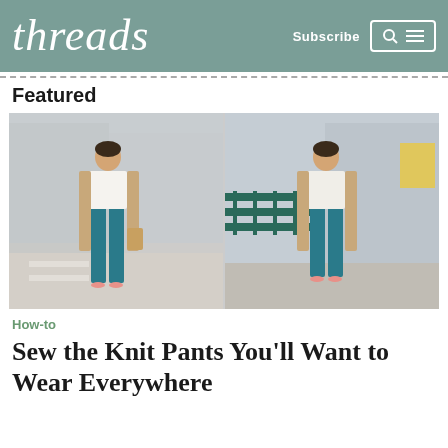threads | Subscribe
Featured
[Figure (photo): Two side-by-side photos of a woman wearing teal high-waisted pants, a white top, and a tan long cardigan, posing on a city street]
How-to
Sew the Knit Pants You'll Want to Wear Everywhere